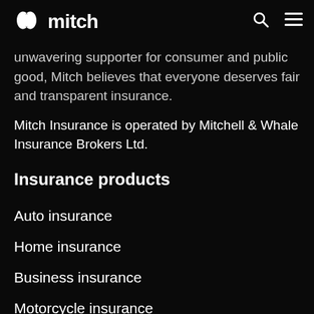mitch
unwavering supporter for consumer and public good, Mitch believes that everyone deserves fair and transparent insurance.
Mitch Insurance is operated by Mitchell & Whale Insurance Brokers Ltd.
Insurance products
Auto insurance
Home insurance
Business insurance
Motorcycle insurance
Snowmobile insurance